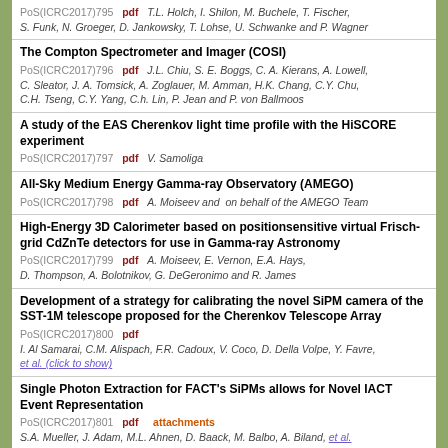PoS(ICRC2017)795 pdf T.L. Holch, I. Shilon, M. Buchele, T. Fischer, S. Funk, N. Groeger, D. Jankowsky, T. Lohse, U. Schwanke and P. Wagner
The Compton Spectrometer and Imager (COSI)
PoS(ICRC2017)796 pdf J.L. Chiu, S. E. Boggs, C. A. Kierans, A. Lowell, C. Sleator, J. A. Tomsick, A. Zoglauer, M. Amman, H.K. Chang, C.Y. Chu, C.H. Tseng, C.Y. Yang, C.h. Lin, P. Jean and P. von Ballmoos
A study of the EAS Cherenkov light time profile with the HiSCORE experiment
PoS(ICRC2017)797 pdf V. Samoliga
All-Sky Medium Energy Gamma-ray Observatory (AMEGO)
PoS(ICRC2017)798 pdf A. Moiseev and on behalf of the AMEGO Team
High-Energy 3D Calorimeter based on positionsensitive virtual Frisch-grid CdZnTe detectors for use in Gamma-ray Astronomy
PoS(ICRC2017)799 pdf A. Moiseev, E. Vernon, E.A. Hays, D. Thompson, A. Bolotnikov, G. DeGeronimo and R. James
Development of a strategy for calibrating the novel SiPM camera of the SST-1M telescope proposed for the Cherenkov Telescope Array
PoS(ICRC2017)800 pdf I. Al Samarai, C.M. Alispach, F.R. Cadoux, V. Coco, D. Della Volpe, Y. Favre, et al. (click to show)
Single Photon Extraction for FACT's SiPMs allows for Novel IACT Event Representation
PoS(ICRC2017)801 pdf attachments S.A. Mueller, J. Adam, M.L. Ahnen, D. Baack, M. Balbo, A. Biland, et al. (click to show)
High-energy gamma-ray studying with GAMMA-400
PoS(ICRC2017)802 pdf N. Topchiev, A. Galper, V. Bonvicini, I. Arkhangelskaja, A. Arkhangelskiy, A. Bakaldin, et al. (click to show)